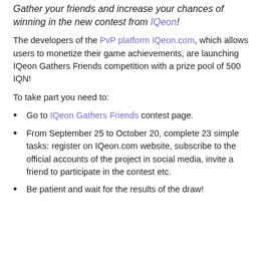Gather your friends and increase your chances of winning in the new contest from IQeon!
The developers of the PvP platform IQeon.com, which allows users to monetize their game achievements, are launching IQeon Gathers Friends competition with a prize pool of 500 IQN!
To take part you need to:
Go to IQeon Gathers Friends contest page.
From September 25 to October 20, complete 23 simple tasks: register on IQeon.com website, subscribe to the official accounts of the project in social media, invite a friend to participate in the contest etc.
Be patient and wait for the results of the draw!